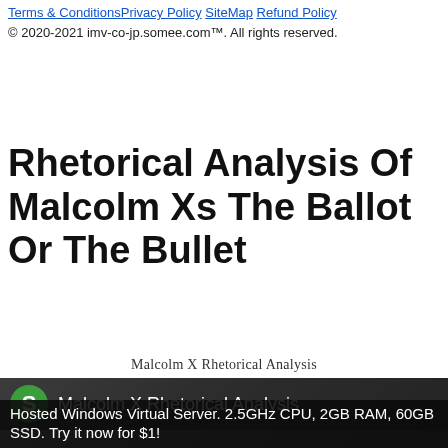Terms & Conditions Privacy Policy SiteMap Refund Policy
© 2020-2021 imv-co-jp.somee.com™. All rights reserved.
Rhetorical Analysis Of Malcolm Xs The Ballot Or The Bullet
Malcolm X Rhetorical Analysis
[Figure (screenshot): Screenshot overlay showing a green circle avatar with letter S, label 'Malcolm X Rhetorical Analysis', and an advertisement banner reading 'Hosted Windows Virtual Server. 2.5GHz CPU, 2GB RAM, 60GB SSD. Try it now for $1!' over a grayscale background image.]